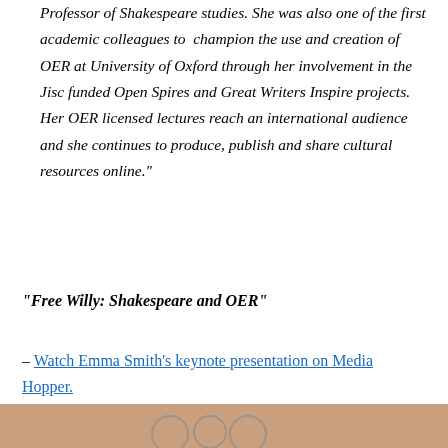Professor of Shakespeare studies. She was also one of the first academic colleagues to champion the use and creation of OER at University of Oxford through her involvement in the Jisc funded Open Spires and Great Writers Inspire projects. Her OER licensed lectures reach an international audience and she continues to produce, publish and share cultural resources online."
“Free Willy: Shakespeare and OER”
– Watch Emma Smith’s keynote presentation on Media Hopper.
[Figure (photo): Partial photo visible at bottom of page, showing what appears to be a conference or event scene with circular decorative elements visible against a warm background.]